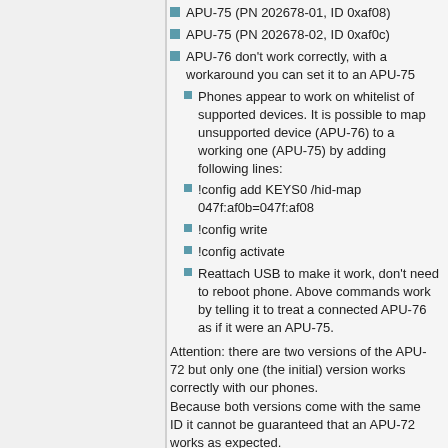APU-75 (PN 202678-01, ID 0xaf08)
APU-75 (PN 202678-02, ID 0xaf0c)
APU-76 don't work correctly, with a workaround you can set it to an APU-75
Phones appear to work on whitelist of supported devices. It is possible to map unsupported device (APU-76) to a working one (APU-75) by adding following lines:
!config add KEYS0 /hid-map 047f:af0b=047f:af08
!config write
!config activate
Reattach USB to make it work, don't need to reboot phone. Above commands work by telling it to treat a connected APU-76 as if it were an APU-75.
Attention: there are two versions of the APU-72 but only one (the initial) version works correctly with our phones.
Because both versions come with the same ID it cannot be guaranteed that an APU-72 works as expected.